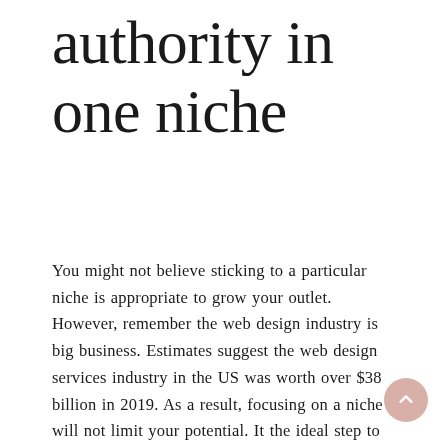authority in one niche
You might not believe sticking to a particular niche is appropriate to grow your outlet. However, remember the web design industry is big business. Estimates suggest the web design services industry in the US was worth over $38 billion in 2019. As a result, focusing on a niche will not limit your potential. It the ideal step to take to grow your business. Not only is there less competition, but there's also still a fruitful bounty to enjoy.